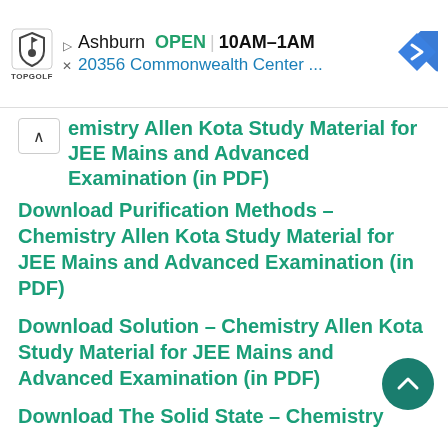[Figure (screenshot): Topgolf advertisement banner showing Ashburn location, OPEN status, hours 10AM-1AM, address 20356 Commonwealth Center ..., with navigation arrow icon]
emistry Allen Kota Study Material for JEE Mains and Advanced Examination (in PDF)
Download Purification Methods – Chemistry Allen Kota Study Material for JEE Mains and Advanced Examination (in PDF)
Download Solution – Chemistry Allen Kota Study Material for JEE Mains and Advanced Examination (in PDF)
Download The Solid State – Chemistry